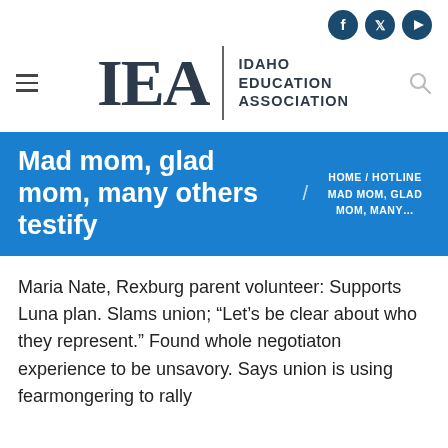[Figure (logo): IEA Idaho Education Association logo with social media icons (Facebook, Twitter, YouTube) in top right, hamburger menu on left, and search icon on right]
Mad mom, glad mom, many others testify
HOME / HOTLINE / MAD MOM, GLAD MOM, MANY...
Maria Nate, Rexburg parent volunteer: Supports Luna plan. Slams union; “Let's be clear about who they represent.” Found whole negotiaton experience to be unsavory. Says union is using fearmongering to rally